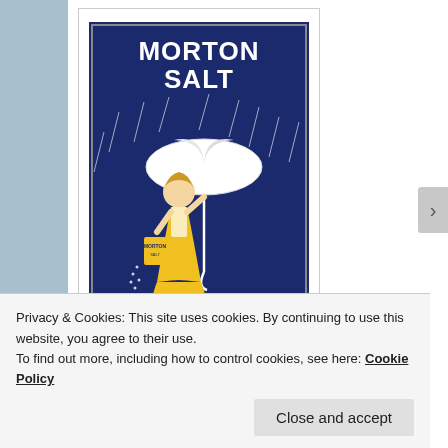[Figure (illustration): Morton Salt vintage advertisement poster: dark navy blue background with a girl in a yellow dress holding a white umbrella in the rain, pouring salt. Text reads 'MORTON SALT' at top and 'WHEN IT RAINS IT POURS' at bottom.]
Salt isn't just for flavoring your food. Thanks to HGTV magazine, I just learned of 6 amazing ways to use salt around the house to fix some oops and clean a variety of items from tools to body parts.
Privacy & Cookies: This site uses cookies. By continuing to use this website, you agree to their use.
To find out more, including how to control cookies, see here: Cookie Policy